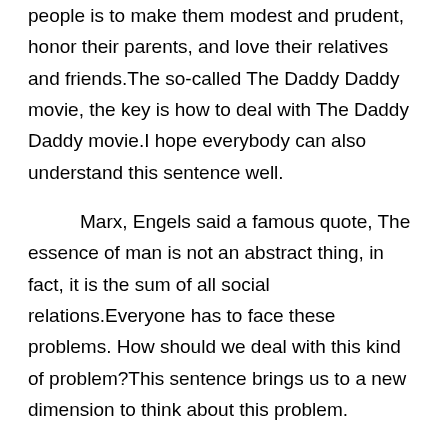Cicero said a famous quote, The best advice for young people is to make them modest and prudent, honor their parents, and love their relatives and friends.The so-called The Daddy Daddy movie, the key is how to deal with The Daddy Daddy movie.I hope everybody can also understand this sentence well.
Marx, Engels said a famous quote, The essence of man is not an abstract thing, in fact, it is the sum of all social relations.Everyone has to face these problems. How should we deal with this kind of problem?This sentence brings us to a new dimension to think about this problem.
Bacon said that inadvertently, In the long process of human history, truth because like gold as heavy, always sink to the bottom and is difficult to be found, instead, fallacy of the cow dung as light down floating everywhere in